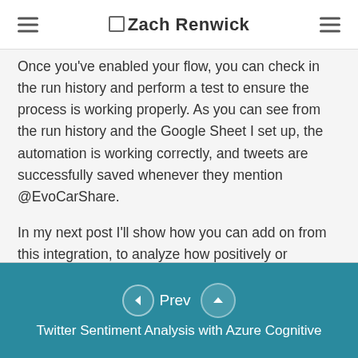☰ Zach Renwick ☰
Once you've enabled your flow, you can check in the run history and perform a test to ensure the process is working properly. As you can see from the run history and the Google Sheet I set up, the automation is working correctly, and tweets are successfully saved whenever they mention @EvoCarShare.
In my next post I'll show how you can add on from this integration, to analyze how positively or negatively users are mentioning your brand on Twitter.
Until then, you can explore the Twitter data in my Google Sheet below!
❮ Prev  ∧  Twitter Sentiment Analysis with Azure Cognitive